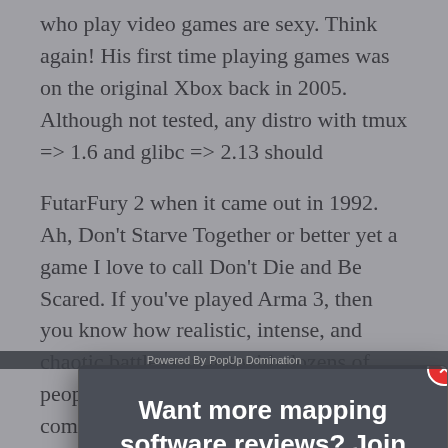who play video games are sexy. Think again! His first time playing games was on the original Xbox back in 2005. Although not tested, any distro with tmux => 1.6 and glibc => 2.13 should
[Figure (screenshot): Email subscription popup modal with header 'Want more mapping software reviews? Join now!', first name and email input fields, a blue SUBSCRIBE NOW button, and a spam notice. A red close button appears in the top-right corner.]
Powered By PopUp Domination
FutarFury 2 when it came out in 1992. Ah, Don't Starve Together or better yet a game I love to call Don't Die and Be Scared. If you've played Arma 3, then you know how realistic, intense, and chaotic battles can get with dozens of people, planes, and vehicles. Head into combat on foot, drive armored